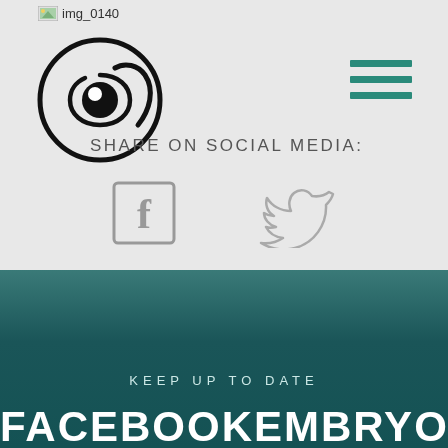[Figure (logo): img_0140 label with small image icon in top-left corner]
[Figure (logo): Circular eye/swirl logo in black lines]
[Figure (infographic): Three horizontal green hamburger menu lines in top-right corner]
SHARE ON SOCIAL MEDIA:
[Figure (illustration): Facebook icon (square with f) and Twitter bird icon side by side]
KEEP UP TO DATE
FACEBOOK  EMBRYO